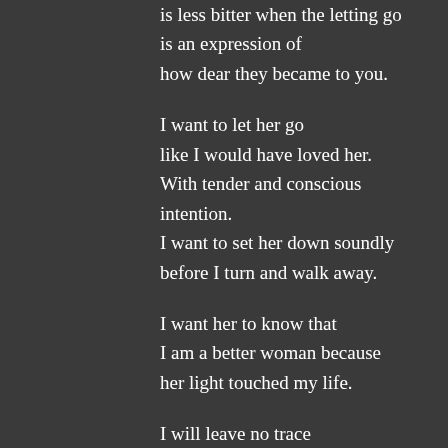[...is less bitter when the letting go / is an expression of / how dear they became to you.]

I want to let her go
like I would have loved her.
With tender and conscious intention.
I want to set her down soundly
before I turn and walk away.

I want her to know that
I am a better woman because
her light touched my life.

I will leave no trace
of my broken heart.
No grievances.

I...